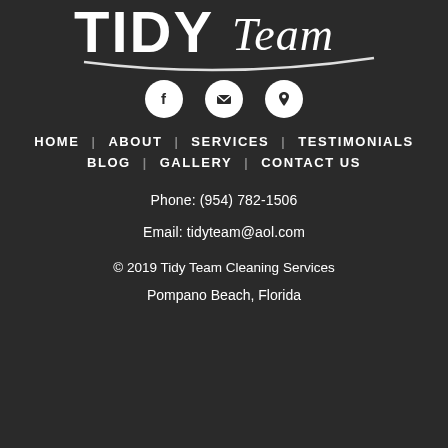[Figure (logo): Tidy Team logo with large white bold 'TIDY' text and cursive 'Team' script, with a swoosh line underneath, on dark background]
[Figure (infographic): Three white circular icon buttons: Facebook icon, envelope/email icon, and map pin/location icon]
HOME   ABOUT   SERVICES   TESTIMONIALS
BLOG   GALLERY   CONTACT US
Phone: (954) 782-1506
Email: tidyteam@aol.com
© 2019 Tidy Team Cleaning Services
Pompano Beach, Florida